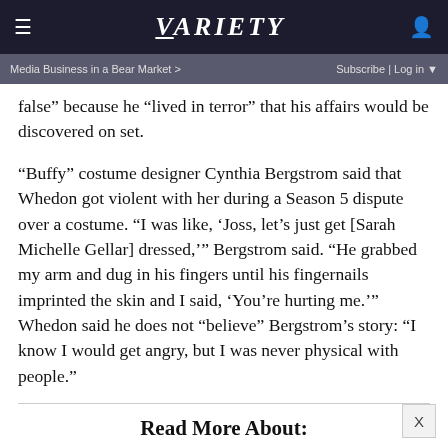VARIETY
Media Business in a Bear Market > | Subscribe | Log in
false” because he “lived in terror” that his affairs would be discovered on set.
“Buffy” costume designer Cynthia Bergstrom said that Whedon got violent with her during a Season 5 dispute over a costume. “I was like, ‘Joss, let’s just get [Sarah Michelle Gellar] dressed,’” Bergstrom said. “He grabbed my arm and dug in his fingers until his fingernails imprinted the skin and I said, ‘You’re hurting me.’” Whedon said he does not “believe” Bergstrom’s story: “I know I would get angry, but I was never physical with people.”
Read More About:
Joss Whedon   Nathan Fillion